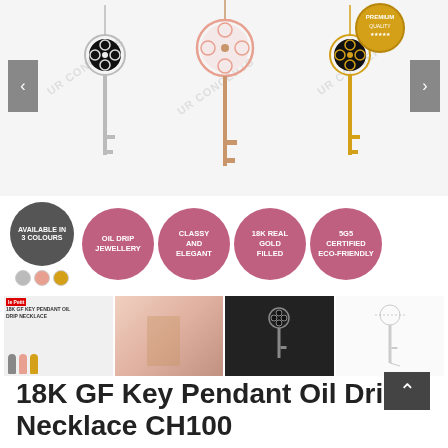[Figure (photo): Product carousel showing three key pendant necklaces (silver, rose gold, gold) with navigation arrows on left and right. Premium quality badge visible top right.]
[Figure (infographic): Feature badges row: dark grey circle 'AVAILABLE IN 3 COLOURS' with three colour swatches, then four pink circles: 'OIL DRIP JEWELLERY', 'CLASSY AND ELEGANT', '18K REAL GOLD FILLED', '5G5 CERTIFIED ECO-FRIENDLY']
[Figure (photo): Four product thumbnail images showing the key pendant necklace from different angles and contexts]
18K GF Key Pendant Oil Drip Necklace CH100